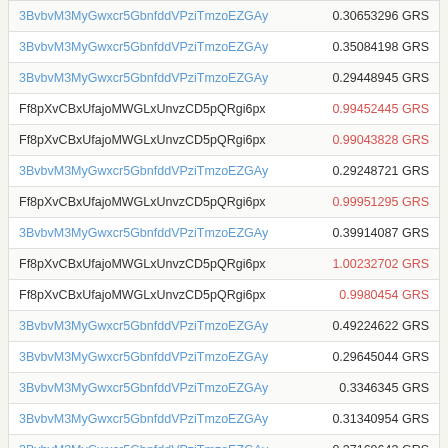| Address | Amount |
| --- | --- |
| 3BvbvM3MyGwxcr5GbnfddVPziTmzoEZGAy | 0.30653296 GRS |
| 3BvbvM3MyGwxcr5GbnfddVPziTmzoEZGAy | 0.35084198 GRS |
| 3BvbvM3MyGwxcr5GbnfddVPziTmzoEZGAy | 0.29448945 GRS |
| Ff8pXvCBxUfajoMWGLxUnvzCD5pQRgi6px | 0.99452445 GRS |
| Ff8pXvCBxUfajoMWGLxUnvzCD5pQRgi6px | 0.99043828 GRS |
| 3BvbvM3MyGwxcr5GbnfddVPziTmzoEZGAy | 0.29248721 GRS |
| Ff8pXvCBxUfajoMWGLxUnvzCD5pQRgi6px | 0.99951295 GRS |
| 3BvbvM3MyGwxcr5GbnfddVPziTmzoEZGAy | 0.39914087 GRS |
| Ff8pXvCBxUfajoMWGLxUnvzCD5pQRgi6px | 1.00232702 GRS |
| Ff8pXvCBxUfajoMWGLxUnvzCD5pQRgi6px | 0.9980454 GRS |
| 3BvbvM3MyGwxcr5GbnfddVPziTmzoEZGAy | 0.49224622 GRS |
| 3BvbvM3MyGwxcr5GbnfddVPziTmzoEZGAy | 0.29645044 GRS |
| 3BvbvM3MyGwxcr5GbnfddVPziTmzoEZGAy | 0.3346345 GRS |
| 3BvbvM3MyGwxcr5GbnfddVPziTmzoEZGAy | 0.31340954 GRS |
| 3BvbvM3MyGwxcr5GbnfddVPziTmzoEZGAy | 0.37169643 GRS |